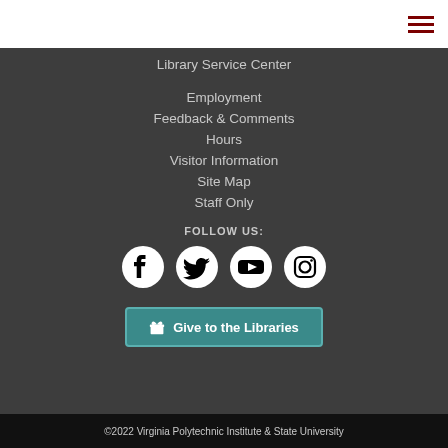Library Service Center
Employment
Feedback & Comments
Hours
Visitor Information
Site Map
Staff Only
FOLLOW US:
[Figure (illustration): Four social media icons in white circles: Facebook, Twitter, YouTube, Instagram]
🎁 Give to the Libraries
©2022 Virginia Polytechnic Institute & State University